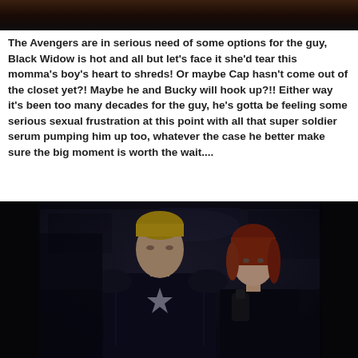[Figure (photo): Top portion of a dark movie still image, cropped at top of page]
The Avengers are in serious need of some options for the guy, Black Widow is hot and all but let's face it she'd tear this momma's boy's heart to shreds! Or maybe Cap hasn't come out of the closet yet?! Maybe he and Bucky will hook up?!! Either way it's been too many decades for the guy, he's gotta be feeling some serious sexual frustration at this point with all that super soldier serum pumping him up too, whatever the case he better make sure the big moment is worth the wait....
[Figure (photo): Movie still from Captain America: The Winter Soldier showing Captain America (Chris Evans) in tactical suit and Black Widow (Scarlett Johansson) with red hair, both looking upward in a dark interior setting]